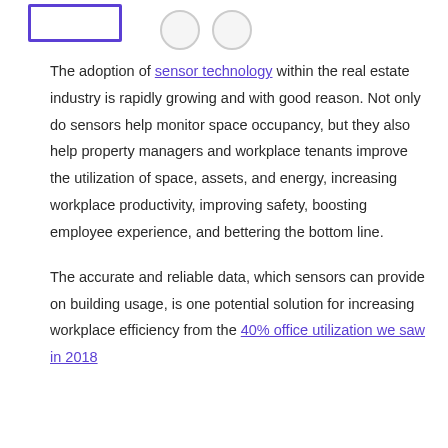[Figure (other): Purple-bordered rectangle (logo/button placeholder) and two grey circles (social/navigation icons) in the page header area]
The adoption of sensor technology within the real estate industry is rapidly growing and with good reason. Not only do sensors help monitor space occupancy, but they also help property managers and workplace tenants improve the utilization of space, assets, and energy, increasing workplace productivity, improving safety, boosting employee experience, and bettering the bottom line.
The accurate and reliable data, which sensors can provide on building usage, is one potential solution for increasing workplace efficiency from the 40% office utilization we saw in 2018